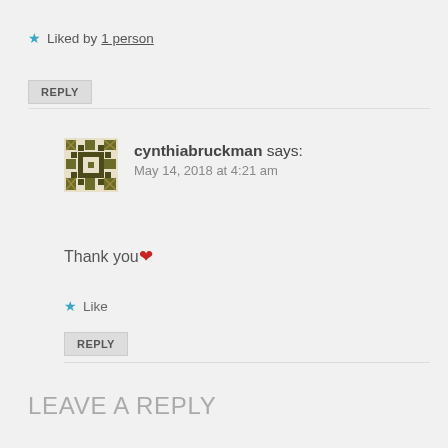★ Liked by 1 person
REPLY
cynthiabruckman says: May 14, 2018 at 4:21 am
Thank you ❤
★ Like
REPLY
LEAVE A REPLY